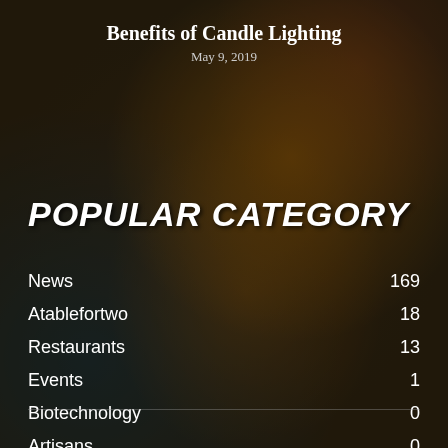Benefits of Candle Lighting
May 9, 2019
POPULAR CATEGORY
News 169
Atablefortwo 18
Restaurants 13
Events 1
Biotechnology 0
Artisans 0
Cheesecakes 0